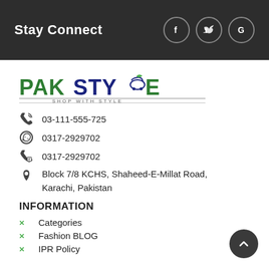Stay Connect
[Figure (logo): PakStyle logo with shopping cart icon and text 'SHOP WITH STYLE']
03-111-555-725
0317-2929702
0317-2929702
Block 7/8 KCHS, Shaheed-E-Millat Road, Karachi, Pakistan
INFORMATION
Categories
Fashion BLOG
IPR Policy